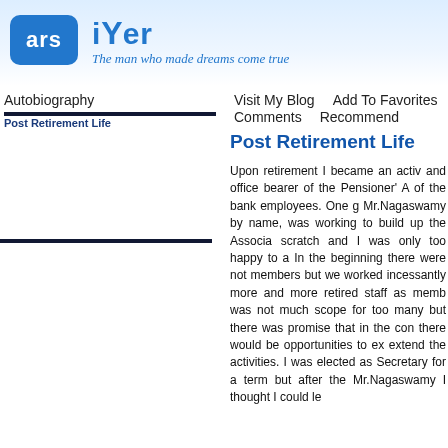[Figure (logo): ars iYer logo with blue rounded rectangle containing 'ars' in white, and 'iYer' in blue bold text, with tagline 'The man who made dreams come true' in italic blue]
Autobiography    Visit My Blog    Add To Favorites
                           Comments    Recommend
Post Retirement Life
Upon retirement I became an activ and office bearer of the Pensioner' A of the bank employees. One g Mr.Nagaswamy by name, was working to build up the Associa scratch and I was only too happy to a In the beginning there were not members but we worked incessantly more and more retired staff as memb was not much scope for too many but there was promise that in the con there would be opportunities to ex extend the activities. I was elected as Secretary for a term but after the Mr.Nagaswamy I thought I could le